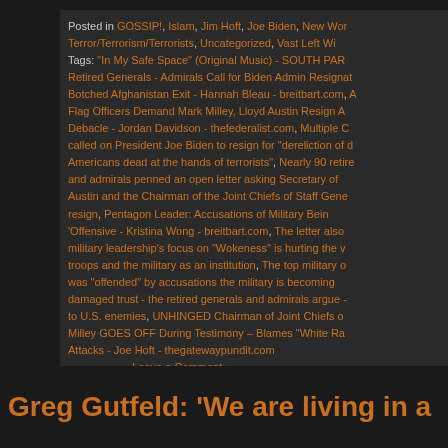Posted in GOSSIP!, Islam, Jim Hoft, Joe Biden, New Wor Terror/Terrorism/Terrorists, Uncategorized, Vast Left Wi Tags: "In My Safe Space" (Original Music) - SOUTH PAR Retired Generals - Admirals Call for Biden Admin Resignat Botched Afghanistan Exit - Hannah Bleau - breitbart.com, A Flag Officers Demand Mark Milley, Lloyd Austin Resign A Debacle - Jordan Davidson - thefederalist.com, Multiple C called on President Joe Biden to resign for "dereliction of d Americans dead at the hands of terrorists", Nearly 90 retire and admirals penned an open letter asking Secretary of Austin and the Chairman of the Joint Chiefs of Staff Gene resign, Pentagon Leader: Accusations of Military Being 'Offensive - Kristina Wong - breitbart.com, The letter also military leadership's focus on "Wokeness" is hurting the troops and the military as an institution, The top military o was "offended" by accusations the military is becoming damaged trust - the retired generals and admirals argue - to U.S. enemies, UNHINGED Chairman of Joint Chiefs o Milley GOES OFF During Testimony – Blames "White Ra Attacks - Joe Hoft - thegatewaypundit.com Leave a Comment »
Greg Gutfeld: 'We are living in a